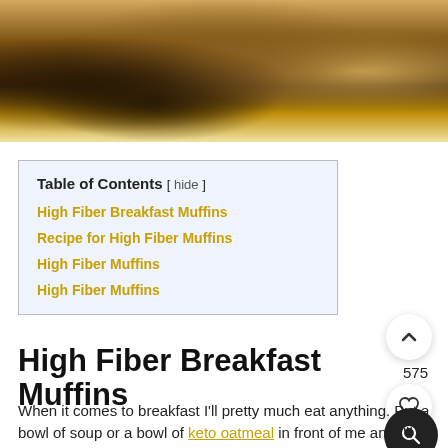[Figure (photo): Close-up photo of high fiber breakfast muffins with crumbly topping, showing golden-brown texture with dark spots]
| Table of Contents [ hide ] |
| High Fiber Breakfast Muffins |
| Recipe for High Fiber Muffins |
| High Fiber Muffins |
| High Fiber Muffins |
High Fiber Breakfast Muffins
When it comes to breakfast I'll pretty much eat anything. Put a bowl of soup or a bowl of keto oatmeal in front of me and I'll eat it happily! That